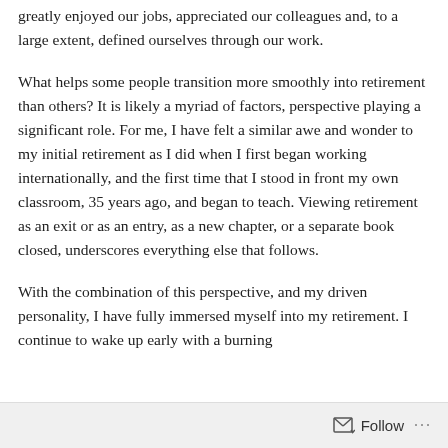greatly enjoyed our jobs, appreciated our colleagues and, to a large extent, defined ourselves through our work.
What helps some people transition more smoothly into retirement than others? It is likely a myriad of factors, perspective playing a significant role. For me, I have felt a similar awe and wonder to my initial retirement as I did when I first began working internationally, and the first time that I stood in front my own classroom, 35 years ago, and began to teach. Viewing retirement as an exit or as an entry, as a new chapter, or a separate book closed, underscores everything else that follows.
With the combination of this perspective, and my driven personality, I have fully immersed myself into my retirement. I continue to wake up early with a burning
Follow